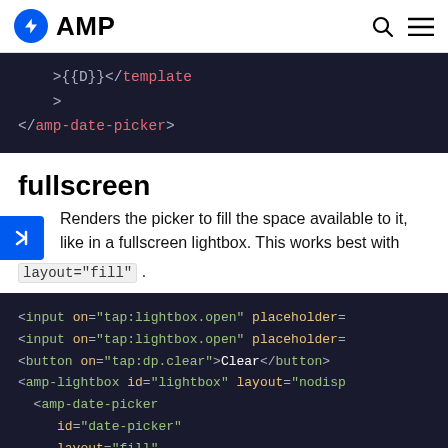AMP
[Figure (screenshot): Code block showing >{{D}}</template>
    >
</amp-date-picker> in dark theme]
fullscreen
Renders the picker to fill the space available to it, like in a fullscreen lightbox. This works best with layout="fill".
[Figure (screenshot): Code block showing <input on='tap:lightbox.open' placeholder=..., <input on='tap:lightbox.open' placeholder=..., <button on='tap:dp.clear'>Clear</button>, <amp-lightbox id='lightbox' layout='nodisp..., <amp-date-picker, id='date-picker', layout='fill', fullscreen]